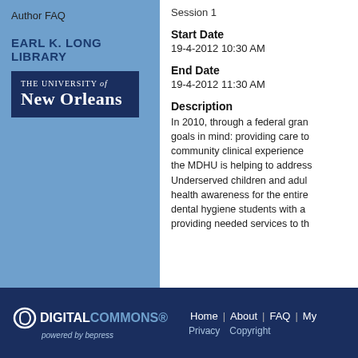Author FAQ
EARL K. LONG LIBRARY
[Figure (logo): The University of New Orleans logo — dark navy rectangle with white serif text reading 'THE UNIVERSITY of NEW ORLEANS']
Session 1
Start Date
19-4-2012 10:30 AM
End Date
19-4-2012 11:30 AM
Description
In 2010, through a federal gran goals in mind: providing care to community clinical experience the MDHU is helping to address Underserved children and adul health awareness for the entire dental hygiene students with a providing needed services to th
[Figure (logo): Digital Commons powered by bepress logo — white oval icon with D shape, text 'DIGITAL' in white bold and 'COMMONS' in blue bold with a dot, 'powered by bepress' italic subtitle]
Home | About | FAQ | My... Privacy  Copyright